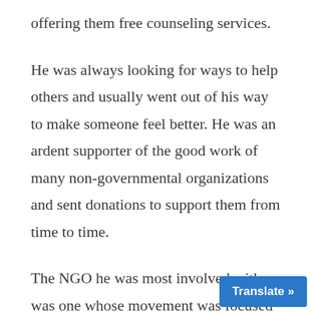offering them free counseling services.
He was always looking for ways to help others and usually went out of his way to make someone feel better. He was an ardent supporter of the good work of many non-governmental organizations and sent donations to support them from time to time.
The NGO he was most involved with was one whose movement was focused on helping homeless and disoriented youth find hope and a livelihood, getting them o...